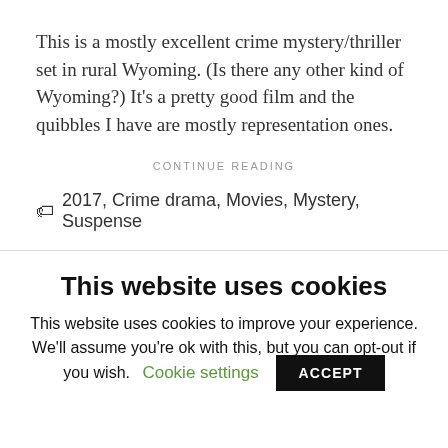This is a mostly excellent crime mystery/thriller set in rural Wyoming. (Is there any other kind of Wyoming?) It’s a pretty good film and the quibbles I have are mostly representation ones.
CONTINUE READING
🏷 2017, Crime drama, Movies, Mystery, Suspense
This website uses cookies
This website uses cookies to improve your experience. We'll assume you're ok with this, but you can opt-out if you wish.
Cookie settings  ACCEPT